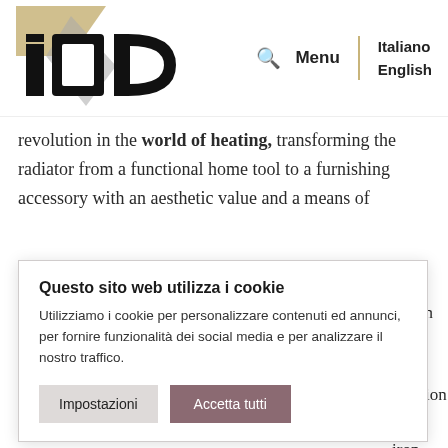[Figure (logo): IQD brand logo in black with gold/grey diagonal accent lines, top-left of header]
Menu | Italiano English
revolution in the world of heating, transforming the radiator from a functional home tool to a furnishing accessory with an aesthetic value and a means of
nedentro" is nge: an n the h the creation most iron radiators ier home ith great
Questo sito web utilizza i cookie
Utilizziamo i cookie per personalizzare contenuti ed annunci, per fornire funzionalità dei social media e per analizzare il nostro traffico.
Impostazioni | Accetta tutti
attention focused on the aesthetic quality,